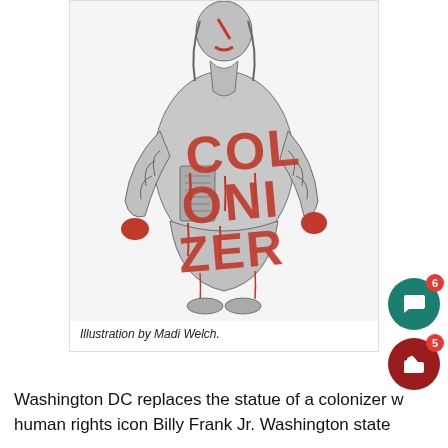[Figure (illustration): Illustration of a historical statue (colonizer figure in period costume) with red spray-painted graffiti text reading 'COLONIZER' across the torso. The statue is depicted in gray tones with red paint drips.]
Illustration by Madi Welch.
Washington DC replaces the statue of a colonizer with human rights icon Billy Frank Jr. Washington state